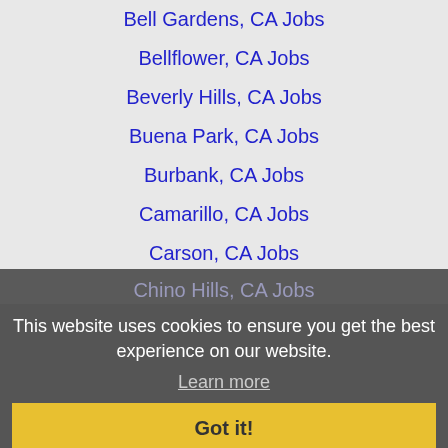Bell Gardens, CA Jobs
Bellflower, CA Jobs
Beverly Hills, CA Jobs
Buena Park, CA Jobs
Burbank, CA Jobs
Camarillo, CA Jobs
Carson, CA Jobs
Catalina Island, CA Jobs
Cerritos, CA Jobs
Chino Hills, CA Jobs
Colton, CA Jobs
Compton, CA Jobs
Costa Mesa, CA Jobs
Covina, CA Jobs
Cypress, CA Jobs
Delano, CA Jobs
Diamond Bar, CA Jobs
Downey, CA Jobs
This website uses cookies to ensure you get the best experience on our website. Learn more Got it!